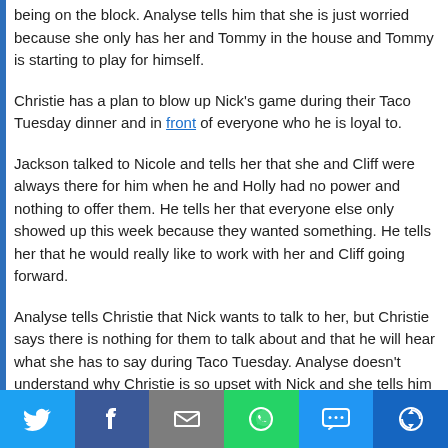being on the block. Analyse tells him that she is just worried because she only has her and Tommy in the house and Tommy is starting to play for himself.
Christie has a plan to blow up Nick's game during their Taco Tuesday dinner and in front of everyone who he is loyal to.
Jackson talked to Nicole and tells her that she and Cliff were always there for him when he and Holly had no power and nothing to offer them. He tells her that everyone else only showed up this week because they wanted something. He tells her that he would really like to work with her and Cliff going forward.
Analyse tells Christie that Nick wants to talk to her, but Christie says there is nothing for them to talk about and that he will hear what she has to say during Taco Tuesday. Analyse doesn't understand why Christie is so upset with Nick and she tells him it's because he's running the game and is loyal to no one. Christie goes on an anti-Nick rant with Tommy, trying to convince him that Nick is working with Jackson.
Nick finally catches up to Christie and Christie tells him that he isn't mad at him, she just feels like he is loyal to no one and has been throwing comps so that he doesn't have to decide who to be loyal to. Christie also tells him that she knows he was lying when he said he would target Holly and Jackson but he denies that. He also told Christie that he didn't throw any comps other than the HOH that Tommy won. She tells him that her gut is gone now and it doesn't matter. Nick says that he would never let anything happen to
[Figure (infographic): Social share bar with Twitter, Facebook, Email, WhatsApp, SMS, and More buttons]